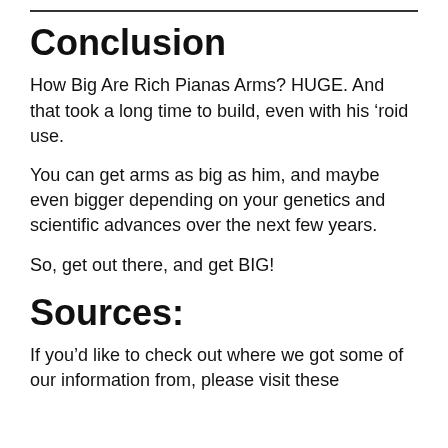Conclusion
How Big Are Rich Pianas Arms? HUGE. And that took a long time to build, even with his ‘roid use.
You can get arms as big as him, and maybe even bigger depending on your genetics and scientific advances over the next few years.
So, get out there, and get BIG!
Sources:
If you’d like to check out where we got some of our information from, please visit these